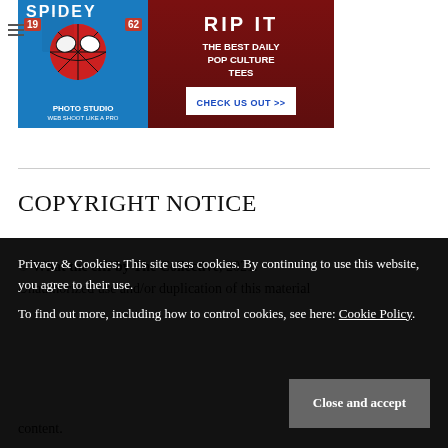[Figure (advertisement): Spider-Man themed advertisement banner. Left side shows blue background with 'SPIDEY' text, a Spider-Man face graphic, and 'PHOTO STUDIO' text with '19 62'. Right side shows dark red background with 'RIP IT' text, 'THE BEST DAILY POP CULTURE TEES' and a 'CHECK US OUT >>' button in blue on white.]
COPYRIGHT NOTICE
© What the efff by The Collective, 2021. Unauthorized use and/or duplication of this material
Privacy & Cookies: This site uses cookies. By continuing to use this website, you agree to their use.
To find out more, including how to control cookies, see here: Cookie Policy
content.